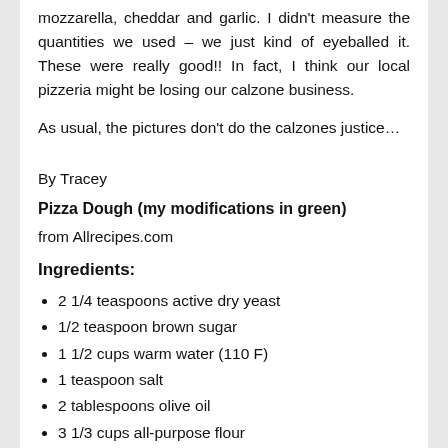mozzarella, cheddar and garlic. I didn't measure the quantities we used – we just kind of eyeballed it. These were really good!! In fact, I think our local pizzeria might be losing our calzone business.
As usual, the pictures don't do the calzones justice…
By Tracey
Pizza Dough (my modifications in green)
from Allrecipes.com
Ingredients:
2 1/4 teaspoons active dry yeast
1/2 teaspoon brown sugar
1 1/2 cups warm water (110 F)
1 teaspoon salt
2 tablespoons olive oil
3 1/3 cups all-purpose flour
Directions: